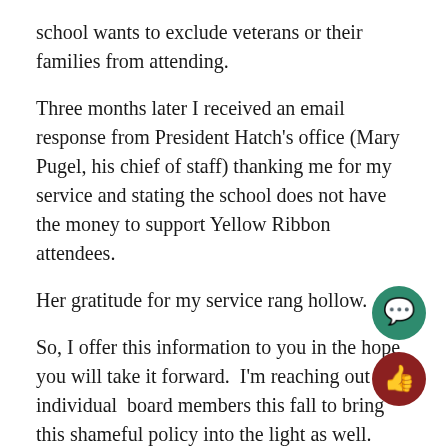school wants to exclude veterans or their families from attending.
Three months later I received an email response from President Hatch's office (Mary Pugel, his chief of staff) thanking me for my service and stating the school does not have the money to support Yellow Ribbon attendees.
Her gratitude for my service rang hollow.
So, I offer this information to you in the hope you will take it forward.  I'm reaching out to individual  board members this fall to bring this shameful policy into the light as well.
Sincerely,
Peter Jannotta
[Figure (illustration): Green circular comment/speech bubble icon button]
[Figure (illustration): Dark red circular thumbs-up like icon button]